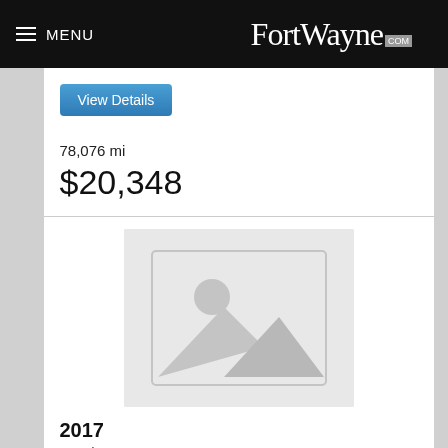MENU  FortWayne.com
View Details
78,076 mi
$20,348
[Figure (photo): Placeholder image for car listing with mountain/landscape icon]
2017
Used
📷 5
GMC Terrain
Onyx Black 2017 GMC Terrain 2.4L 4-Cylinder SIDI DOHC VVT 21/31 City/Highway MPG*****WANT TO SEE THIS